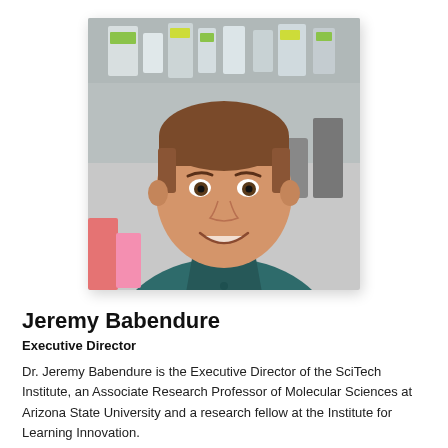[Figure (photo): Headshot photo of Jeremy Babendure, a man in a teal/dark green polo shirt, smiling in what appears to be a laboratory setting with bottles and equipment in the background.]
Jeremy Babendure
Executive Director
Dr. Jeremy Babendure is the Executive Director of the SciTech Institute, an Associate Research Professor of Molecular Sciences at Arizona State University and a research fellow at the Institute for Learning Innovation.